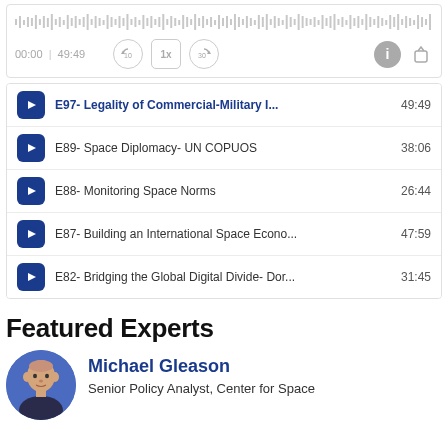[Figure (screenshot): Podcast player interface with waveform and playback controls showing 00:00 | 49:49]
| Icon | Episode Title | Duration |
| --- | --- | --- |
| [icon] | E97- Legality of Commercial-Military I... | 49:49 |
| [icon] | E89- Space Diplomacy- UN COPUOS | 38:06 |
| [icon] | E88- Monitoring Space Norms | 26:44 |
| [icon] | E87- Building an International Space Econo... | 47:59 |
| [icon] | E82- Bridging the Global Digital Divide- Dor... | 31:45 |
Featured Experts
[Figure (photo): Headshot of Michael Gleason]
Michael Gleason
Senior Policy Analyst, Center for Space